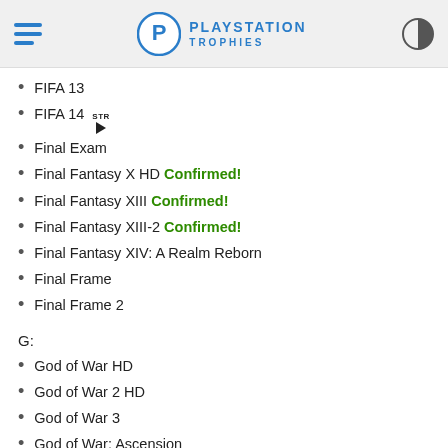PlayStation Trophies
FIFA 13
FIFA 14 STR ▶
Final Exam
Final Fantasy X HD Confirmed!
Final Fantasy XIII Confirmed!
Final Fantasy XIII-2 Confirmed!
Final Fantasy XIV: A Realm Reborn
Final Frame
Final Frame 2
G:
God of War HD
God of War 2 HD
God of War 3
God of War: Ascension
God of War: Chains of Olympus HD